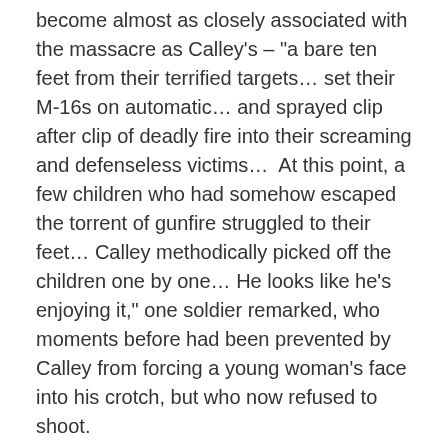become almost as closely associated with the massacre as Calley's – "a bare ten feet from their terrified targets… set their M-16s on automatic… and sprayed clip after clip of deadly fire into their screaming and defenseless victims…  At this point, a few children who had somehow escaped the torrent of gunfire struggled to their feet… Calley methodically picked off the children one by one… He looks like he's enjoying it," one soldier remarked, who moments before had been prevented by Calley from forcing a young woman's face into his crotch, but who now refused to shoot.
The mass killing, which Harold Jones parades scene by scene with exhaustive precision, was repeated throughout the morning until the bodies of hundreds of villagers lay scattered across the landscape. Not just those killed by Calley's platoon, but by others throughout the rest of